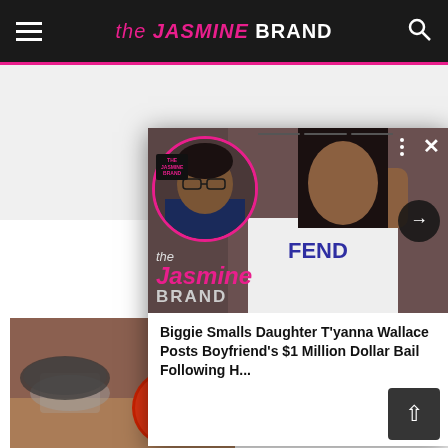the JASMINE BRAND
[Figure (screenshot): Popup overlay on a website showing The Jasmine Brand logo with a man's face in a pink circle frame and a woman wearing a Fendi shirt in the background. Small logo badge visible. More options dots and close X button visible.]
Biggie Smalls Daughter T'yanna Wallace Posts Boyfriend's $1 Million Dollar Bail Following H...
Weight Loss
[Figure (photo): Close-up photo of a tomato and kitchen utensils on a wooden surface]